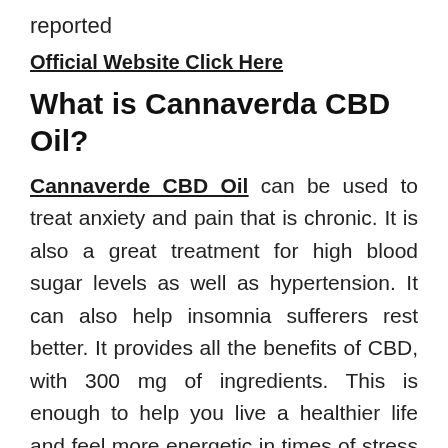reported
Official Website Click Here
What is Cannaverda CBD Oil?
Cannaverde CBD Oil can be used to treat anxiety and pain that is chronic. It is also a great treatment for high blood sugar levels as well as hypertension. It can also help insomnia sufferers rest better. It provides all the benefits of CBD, with 300 mg of ingredients. This is enough to help you live a healthier life and feel more energetic in times of stress or anxiety. CNN, Time, Doctor, NBC, Exploration Network, and many other outlets have featured CBD. Popular health and